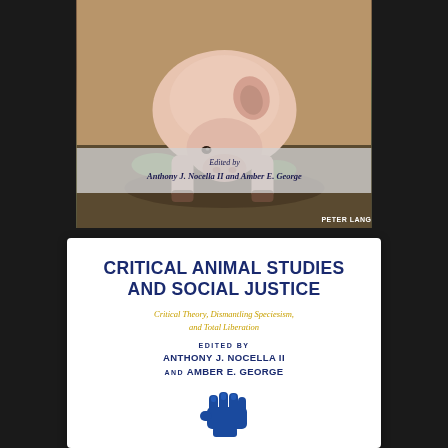[Figure (photo): Book cover showing a pig sniffing the ground outdoors, with a semi-transparent overlay showing editor names 'Edited by Anthony J. Nocella II and Amber E. George' and Peter Lang publisher logo at bottom right.]
CRITICAL ANIMAL STUDIES AND SOCIAL JUSTICE
Critical Theory, Dismantling Speciesism, and Total Liberation
EDITED BY
ANTHONY J. NOCELLA II
AND AMBER E. GEORGE
[Figure (logo): Blue raised fist logo / icon at the bottom of the white book panel.]